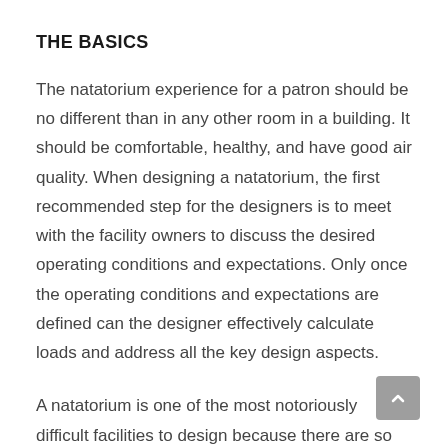THE BASICS
The natatorium experience for a patron should be no different than in any other room in a building. It should be comfortable, healthy, and have good air quality. When designing a natatorium, the first recommended step for the designers is to meet with the facility owners to discuss the desired operating conditions and expectations. Only once the operating conditions and expectations are defined can the designer effectively calculate loads and address all the key design aspects.
A natatorium is one of the most notoriously difficult facilities to design because there are so many critical considerations that, if overlooked, can develop into